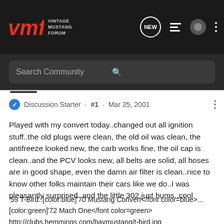VMF Vintage Mustang Forum — navigation header with search bar
Discussion Starter · #1 · Mar 25, 2001
Played with my convert today..changed out all ignition stuff..the old plugs were clean, the old oil was clean, the antifreeze looked new, the carb works fine, the oil cap is clean..and the PCV looks new, all belts are solid, all hoses are in good shape, even the damn air filter is clean..nice to know other folks maintain their cars like we do..I was pleasantly surprised..and the little 302 just hums..cool
'59 T-Bird..[color:blue]'70 Mustang Convert</font color=blue>...[color:green]'72 Mach One</font color=green>
http://clubs.hemmings.com/baymustang/t-bird.jpg
The Black Bird At 42,she's the oldest in my Ford stable